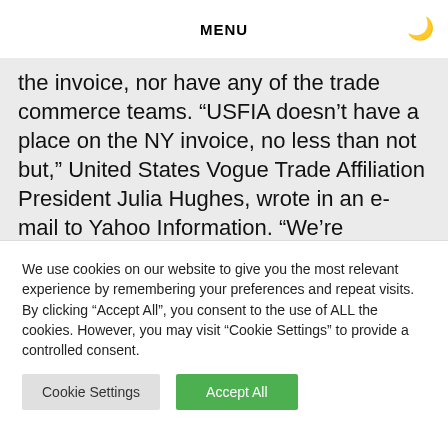MENU
the invoice, nor have any of the trade commerce teams. “USFIA doesn’t have a place on the NY invoice, no less than not but,” United States Vogue Trade Affiliation President Julia Hughes, wrote in an e-mail to Yahoo Information. “We’re nonetheless reviewing the small print of the laws.”
We use cookies on our website to give you the most relevant experience by remembering your preferences and repeat visits. By clicking “Accept All”, you consent to the use of ALL the cookies. However, you may visit “Cookie Settings” to provide a controlled consent.